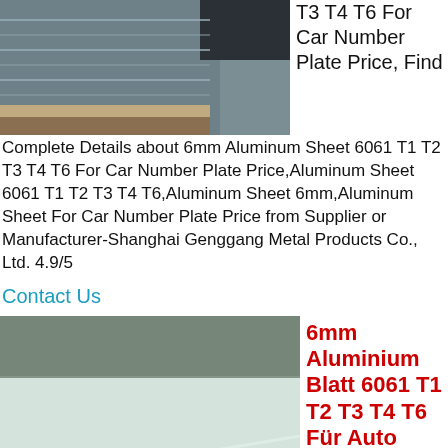[Figure (photo): Stacked aluminum sheets, metallic silver, viewed from side angle]
T3 T4 T6 For Car Number Plate Price, Find
Complete Details about 6mm Aluminum Sheet 6061 T1 T2 T3 T4 T6 For Car Number Plate Price,Aluminum Sheet 6061 T1 T2 T3 T4 T6,Aluminum Sheet 6mm,Aluminum Sheet For Car Number Plate Price from Supplier or Manufacturer-Shanghai Genggang Metal Products Co., Ltd. 4.9/5
Contact Us
[Figure (photo): Close-up of stacked aluminum/aluminium sheets with reflective surface]
6mm Aluminium Blatt 6061 T1 T2 T3 T4 T6 Für Auto
Get a Quote
WhatsApp
Send Email